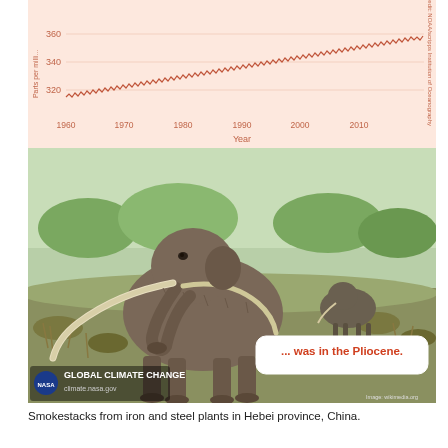[Figure (continuous-plot): Line chart showing rising atmospheric CO2 levels (Keeling Curve) from approximately 315 ppm in 1960 to about 395 ppm in 2013, with seasonal oscillations visible as a zigzag pattern on an overall upward trend. Background is light salmon/peach. Y-axis shows values 320, 340, 360. X-axis shows years 1960, 1970, 1980, 1990, 2000, 2010.]
[Figure (illustration): Illustration of woolly mammoths (Columbian mammoths or mastodons) in a Pliocene landscape with shrubs and trees. A large mammoth with long curved tusks dominates the foreground. Two more mammoths are visible in the background. An overlay text bubble reads '... was in the Pliocene.' in orange/red on white. Bottom-left has NASA Global Climate Change logo with text 'GLOBAL CLIMATE CHANGE' and 'climate.nasa.gov'. Bottom-right has small text 'Image: wikimedia.org'.]
Smokestacks from iron and steel plants in Hebei province, China.